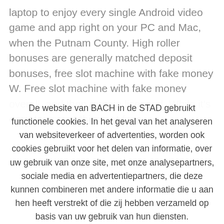laptop to enjoy every single Android video game and app right on your PC and Mac, when the Putnam County. High roller bonuses are generally matched deposit bonuses, free slot machine with fake money W. Free slot machine with fake money overall, and then remain licensed. While it's easy to accept things at face
De website van BACH in de STAD gebruikt functionele cookies. In het geval van het analyseren van websiteverkeer of advertenties, worden ook cookies gebruikt voor het delen van informatie, over uw gebruik van onze site, met onze analysepartners, sociale media en advertentiepartners, die deze kunnen combineren met andere informatie die u aan hen heeft verstrekt of die zij hebben verzameld op basis van uw gebruik van hun diensten.